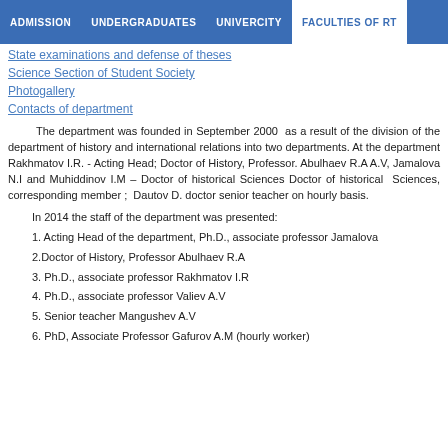ADMISSION  UNDERGRADUATES  UNIVERCITY  FACULTIES OF RT
State examinations and defense of theses
Science Section of Student Society
Photogallery
Contacts of department
The department was founded in September 2000  as a result of the division of the department of history and international relations into two departments. At the department worked: Candidate of History, Rakhmatov I.R. - Acting Head; Doctor of History, Professor. Abulhaev R.A; Ph.D., associate professors Valiev A.V, Jamalova N.I and Muhiddinov I.M – Doctor of historical Sciences, Professor ; Tursunov S.T. – Doctor of historical  Sciences, corresponding member ;  Dautov D. doctor of historical Sciences, Professor and senior teacher on hourly basis.
In 2014 the staff of the department was presented:
1. Acting Head of the department, Ph.D., associate professor Jamalova
2.Doctor of History, Professor Abulhaev R.A
3. Ph.D., associate professor Rakhmatov I.R
4. Ph.D., associate professor Valiev A.V
5. Senior teacher Mangushev A.V
6. PhD, Associate Professor Gafurov A.M (hourly worker)